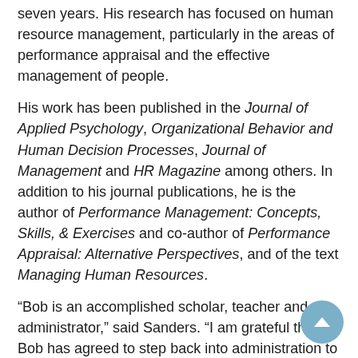seven years. His research has focused on human resource management, particularly in the areas of performance appraisal and the effective management of people.
His work has been published in the Journal of Applied Psychology, Organizational Behavior and Human Decision Processes, Journal of Management and HR Magazine among others. In addition to his journal publications, he is the author of Performance Management: Concepts, Skills, & Exercises and co-author of Performance Appraisal: Alternative Perspectives, and of the text Managing Human Resources.
“Bob is an accomplished scholar, teacher and administrator,” said Sanders. “I am grateful that Bob has agreed to step back into administration to continue in the important work of leading and mentoring faculty and students.”